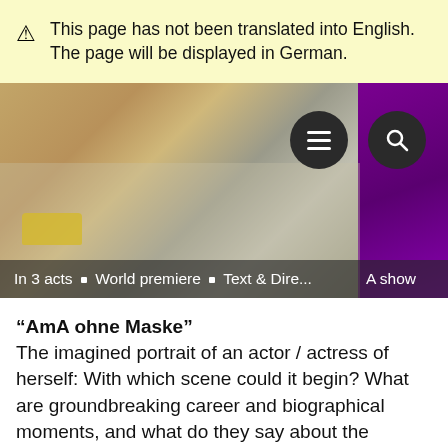This page has not been translated into English. The page will be displayed in German.
[Figure (screenshot): A screenshot of a theater website showing a banner image with a person at a desk with vintage objects, and navigation buttons (menu and search) overlaid. Caption reads: In 3 acts ▪ World premiere ▪ Text & Dire... and A show]
“AmA ohne Maske”
The imagined portrait of an actor / actress of herself: With which scene could it begin? What are groundbreaking career and biographical moments, and what do they say about the